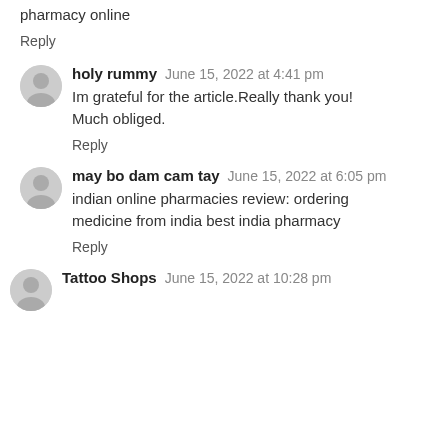pharmacy online
Reply
holy rummy   June 15, 2022 at 4:41 pm
Im grateful for the article.Really thank you! Much obliged.
Reply
may bo dam cam tay   June 15, 2022 at 6:05 pm
indian online pharmacies review: ordering medicine from india best india pharmacy
Reply
Tattoo Shops   June 15, 2022 at 10:28 pm